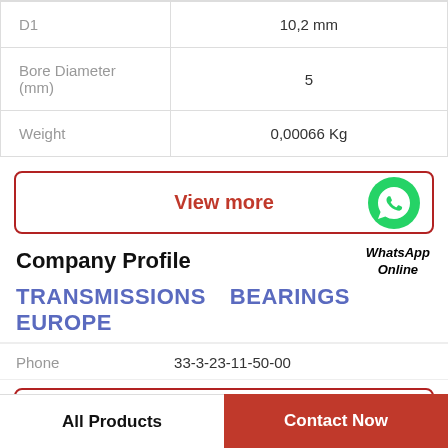| D1 | 10,2 mm |
| Bore Diameter (mm) | 5 |
| Weight | 0,00066 Kg |
[Figure (other): View more button with red border and WhatsApp green phone bubble icon on the right]
WhatsApp Online
Company Profile
TRANSMISSIONS   BEARINGS EUROPE
Phone   33-3-23-11-50-00
All Products   Contact Now